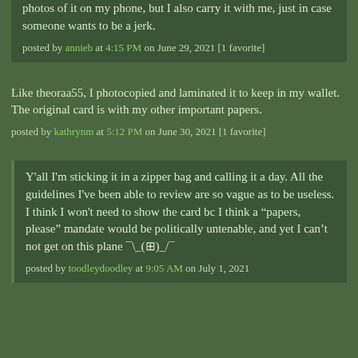photos of it on my phone, but I also carry it with me, just in case someone wants to be a jerk.
posted by annieb at 4:15 PM on June 29, 2021 [1 favorite]
Like theoraa55, I photocopied and laminated it to keep in my wallet. The original card is with my other important papers.
posted by kathrynm at 5:12 PM on June 30, 2021 [1 favorite]
Y'all I'm sticking it in a zipper bag and calling it a day. All the guidelines I've been able to review are so vague as to be useless. I think I won't need to show the card bc I think a “papers, please” mandate would be politically untenable, and yet I can’t not get on this plane ¯\_(⊞)_/¯
posted by toodleydoodley at 9:05 AM on July 1, 2021